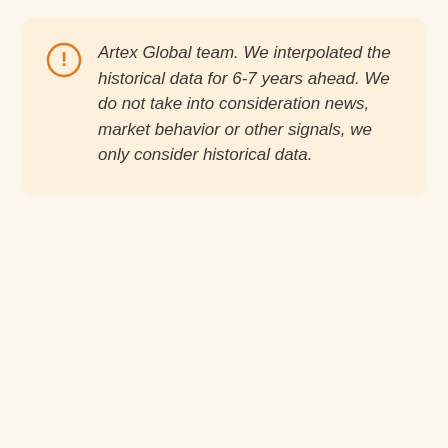Artex Global team. We interpolated the historical data for 6-7 years ahead. We do not take into consideration news, market behavior or other signals, we only consider historical data.